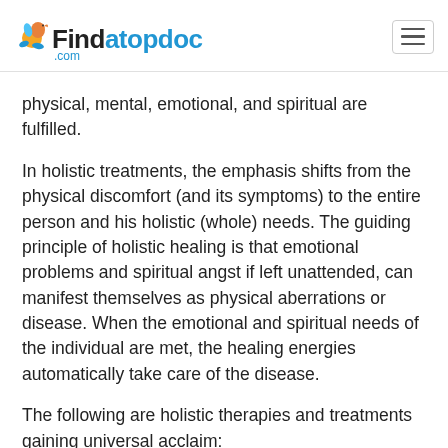Findatopdoc.com
physical, mental, emotional, and spiritual are fulfilled.
In holistic treatments, the emphasis shifts from the physical discomfort (and its symptoms) to the entire person and his holistic (whole) needs. The guiding principle of holistic healing is that emotional problems and spiritual angst if left unattended, can manifest themselves as physical aberrations or disease. When the emotional and spiritual needs of the individual are met, the healing energies automatically take care of the disease.
The following are holistic therapies and treatments gaining universal acclaim: